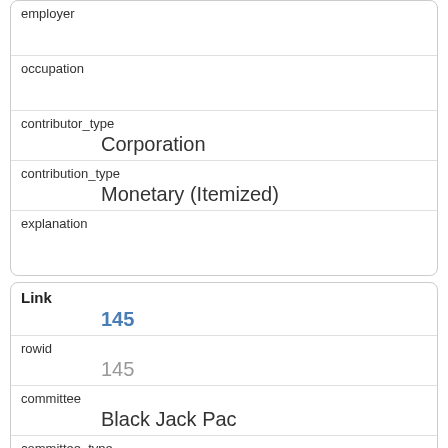| field | value |
| --- | --- |
| employer |  |
| occupation |  |
| contributor_type | Corporation |
| contribution_type | Monetary (Itemized) |
| explanation |  |
| field | value |
| --- | --- |
| Link | 145 |
| rowid | 145 |
| committee | Black Jack Pac |
| committee_type | Political Committee |
| contribution_amount |  |